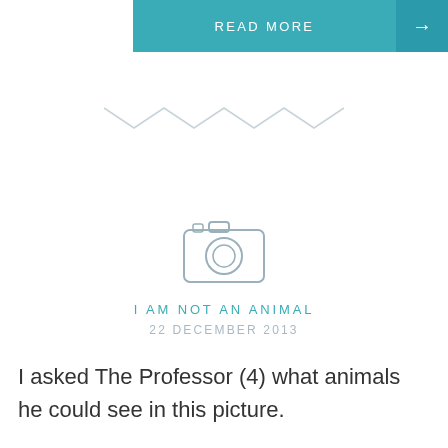[Figure (other): READ MORE button with teal background and right arrow]
[Figure (other): Zigzag decorative divider line in light gray]
[Figure (other): Camera icon outline in light gray]
I AM NOT AN ANIMAL
22 DECEMBER 2013
I asked The Professor (4) what animals he could see in this picture.